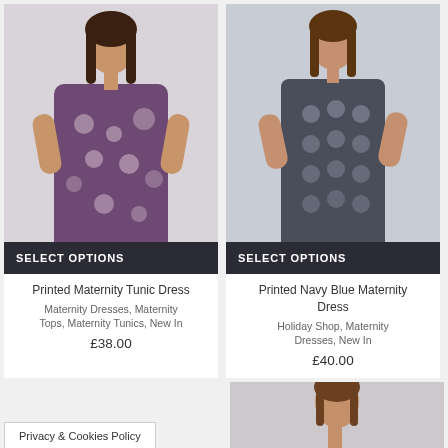[Figure (photo): Model wearing Printed Maternity Tunic Dress with purple/white floral pattern, with SELECT OPTIONS button overlay]
Printed Maternity Tunic Dress
Maternity Dresses, Maternity Tops, Maternity Tunics, New In
£38.00
[Figure (photo): Model wearing Printed Navy Blue Maternity Dress with grey geometric pattern, with SELECT OPTIONS button overlay]
Printed Navy Blue Maternity Dress
Holiday Shop, Maternity Dresses, New In
£40.00
Privacy & Cookies Policy
[Figure (photo): Partial view of third product - model's lower half visible]